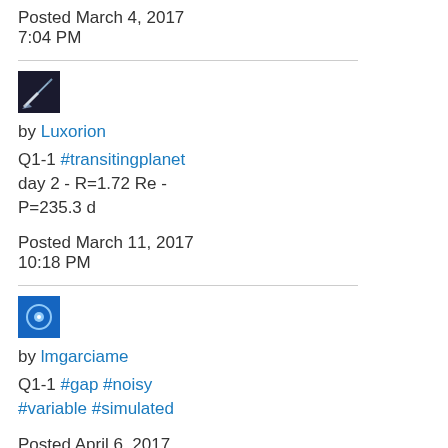Posted March 4, 2017
7:04 PM
[Figure (photo): User avatar for Luxorion - dark image with light streak]
by Luxorion
Q1-1 #transitingplanet day 2 - R=1.72 Re - P=235.3 d
Posted March 11, 2017
10:18 PM
[Figure (photo): User avatar for lmgarciame - blue icon with circular symbol]
by lmgarciame
Q1-1 #gap #noisy #variable #simulated
Posted April 6, 2017
5:54 PM
[Figure (photo): User avatar for RomeyT - blue icon with circular symbol]
by RomeyT
Q1-1 #transit